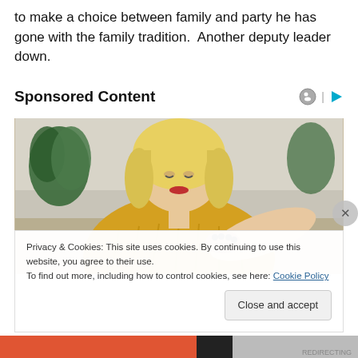to make a choice between family and party he has gone with the family tradition.  Another deputy leader down.
Sponsored Content
[Figure (photo): Woman with blonde hair wearing a yellow knit sweater, looking down at her elbow/arm, sitting on a couch with a plant in the background.]
Privacy & Cookies: This site uses cookies. By continuing to use this website, you agree to their use.
To find out more, including how to control cookies, see here: Cookie Policy
Close and accept